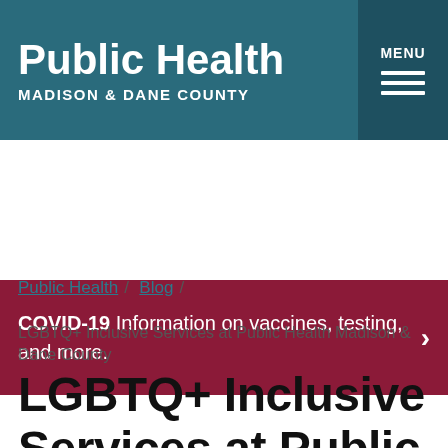Public Health MADISON & DANE COUNTY
COVID-19 Information on vaccines, testing, and more.
Public Health / Blog /
LGBTQ+ Inclusive Services at Public Health Madison & Dane County
LGBTQ+ Inclusive Services at Public Health Madison & Dane County